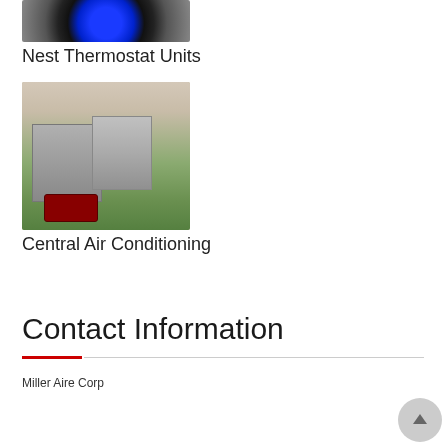[Figure (photo): Nest thermostat device showing circular black unit with blue display]
Nest Thermostat Units
[Figure (photo): Outdoor central air conditioning units with a toolbag on the ground, brick wall and yard in background]
Central Air Conditioning
Contact Information
Miller Aire Corp